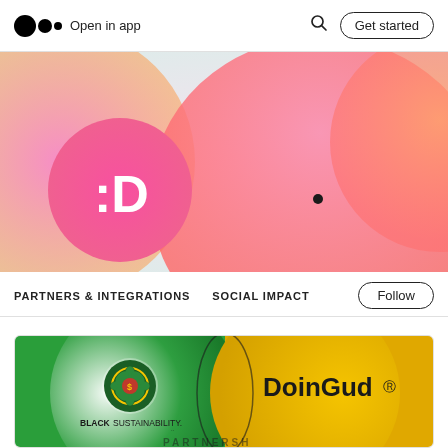Open in app | Get started
[Figure (illustration): Medium blog hero banner with colorful gradient circles — pink, salmon, and orange overlapping circles on a light mint/pink background, with a pink circle containing ':D' logo on the left]
PARTNERS & INTEGRATIONS   SOCIAL IMPACT   Follow
[Figure (illustration): Article card showing a green and yellow gradient background with a Venn diagram overlap. Left side shows the Black Sustainability logo (circular mandala design) and 'BLACKSUSTAINABILITY.' text. Right side shows 'DoinGud :D' logo text. Bottom partially shows 'PARTNERSHIP' text.]